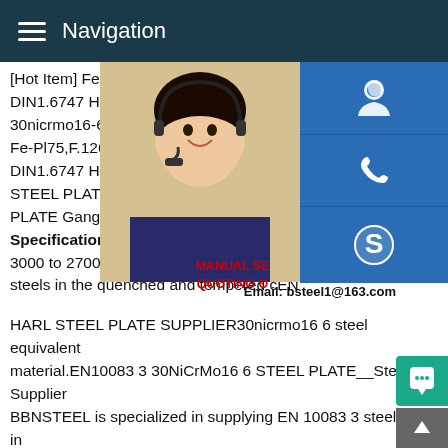Navigation
[Hot Item] Fe-Pl75 F.1260 835m30 En30b DIN1.6747 Hardened Steel.China Fe-Pl75 30nicrmo16-6 DIN1.6747 Hardened Steel, Fe-Pl75,F.1260 from Fe-Pl75 F.1260 835m DIN1.6747 Hardened Steel ,page1.EN100 STEEL PLATE__Steel Supplier EN10083-3 PLATE Gangsteel Grade : EN10083-3 30N Specification (mm) THK: 3 to 300, Width: 3000 to 27000 Standard: Technical deliver steels in the quenched and tempered cEN HARL STEEL PLATE SUPPLIER30nicrmo16 6 steel equivalent material.EN10083 3 30NiCrMo16 6 STEEL PLATE__Steel Supplier BBNSTEEL is specialized in supplying EN 10083 3 steel plate in 30NiCrMo16 6.For more information of 30NiCrMo16 6 steel plates,please check them in followingFor more information of 30NiCrMo16 6 steel plates,please check them in followingGet
[Figure (photo): Customer service representative woman with headset, smiling]
[Figure (infographic): Blue button with headset/customer service icon]
[Figure (infographic): Blue button with phone icon]
[Figure (infographic): Blue button with Skype icon]
MANUAL SE... QUOTING O...
Email: bsteel1@163.com
[Figure (infographic): Green chat bubble button]
[Figure (infographic): Grey up-arrow button]